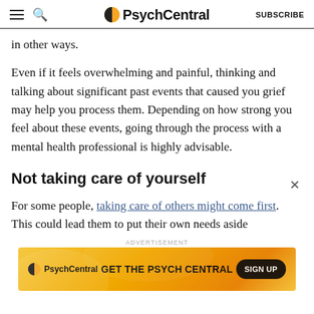PsychCentral | SUBSCRIBE
in other ways.
Even if it feels overwhelming and painful, thinking and talking about significant past events that caused you grief may help you process them. Depending on how strong you feel about these events, going through the process with a mental health professional is highly advisable.
Not taking care of yourself
For some people, taking care of others might come first. This could lead them to put their own needs aside
[Figure (screenshot): PsychCentral advertisement banner with orange/yellow gradient background, PsychCentral logo, text 'GET THE PSYCH CENTRAL', and a 'SIGN UP' button]